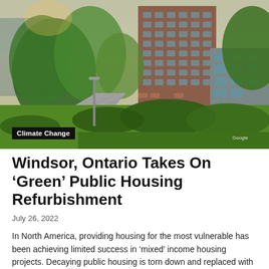[Figure (photo): Street-level Google Street View photo of a public housing complex in Windsor, Ontario. A tall brick residential tower is visible in the background surrounded by mature trees. In the foreground is a concrete sidewalk and a lush green lawn with shrubs. A Google watermark is visible in the lower right.]
Climate Change
Windsor, Ontario Takes On ‘Green’ Public Housing Refurbishment
July 26, 2022
In North America, providing housing for the most vulnerable has been achieving limited success in 'mixed' income housing projects. Decaying public housing is torn down and replaced with new,...